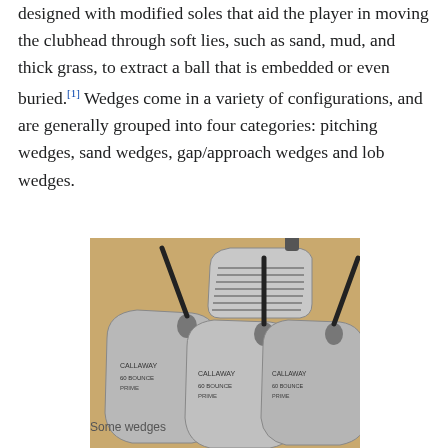designed with modified soles that aid the player in moving the clubhead through soft lies, such as sand, mud, and thick grass, to extract a ball that is embedded or even buried.[1] Wedges come in a variety of configurations, and are generally grouped into four categories: pitching wedges, sand wedges, gap/approach wedges and lob wedges.
[Figure (photo): A photograph of four golf wedge clubs arranged on a tan/brown background. Three wedges are shown in the foreground side by side with their club heads visible, and one wedge is shown from the front/top in the background showing the grooved club face.]
Some wedges